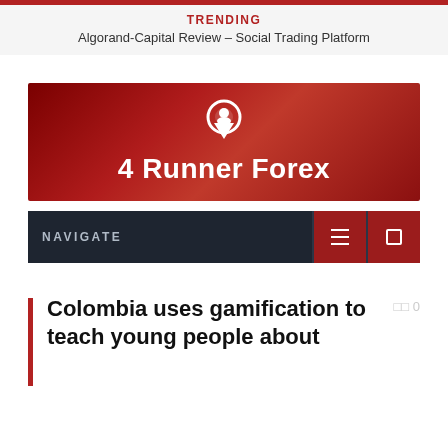TRENDING
Algorand-Capital Review – Social Trading Platform
[Figure (logo): 4 Runner Forex logo banner with location pin icon on dark red gradient background]
[Figure (screenshot): Navigation bar with NAVIGATE label and search/menu icon buttons on dark navy background]
Colombia uses gamification to teach young people about